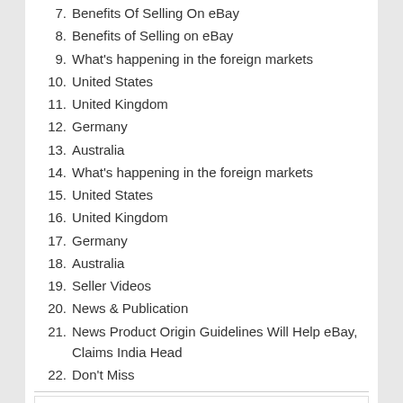7. Benefits Of Selling On eBay
8. Benefits of Selling on eBay
9. What's happening in the foreign markets
10. United States
11. United Kingdom
12. Germany
13. Australia
14. What's happening in the foreign markets
15. United States
16. United Kingdom
17. Germany
18. Australia
19. Seller Videos
20. News & Publication
21. News Product Origin Guidelines Will Help eBay, Claims India Head
22. Don't Miss
H3 Headings 16 :
1. eBay launches ‘Sirf Local Nahi, International Seller’